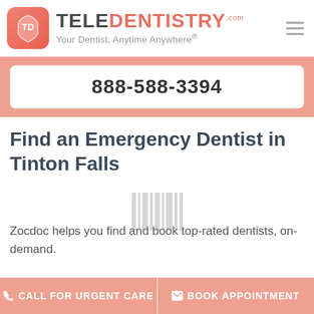[Figure (logo): TeleDentistry.com logo with orange shield icon and tagline 'Your Dentist, Anytime Anywhere']
888-588-3394
Find an Emergency Dentist in Tinton Falls
Zocdoc helps you find and book top-rated dentists, on-demand.
So, how does it work?
CALL FOR URGENT CARE
BOOK APPOINTMENT